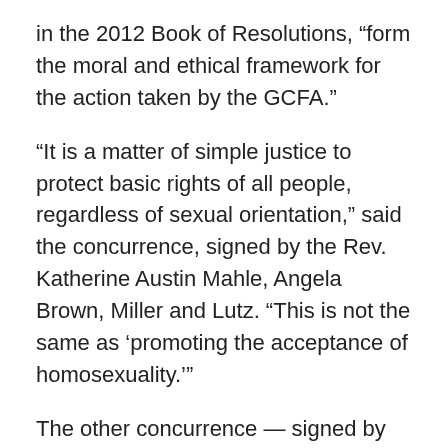in the 2012 Book of Resolutions, “form the moral and ethical framework for the action taken by the GCFA.”
“It is a matter of simple justice to protect basic rights of all people, regardless of sexual orientation,” said the concurrence, signed by the Rev. Katherine Austin Mahle, Angela Brown, Miller and Lutz. “This is not the same as ‘promoting the acceptance of homosexuality.’”
The other concurrence — signed by the Rev. F. Belton Joyner Jr., the Rev. Dennis Blackwell and N. Oswald Tweh Jr. — agreed with the council’s decision but felt it “failed to address fully the